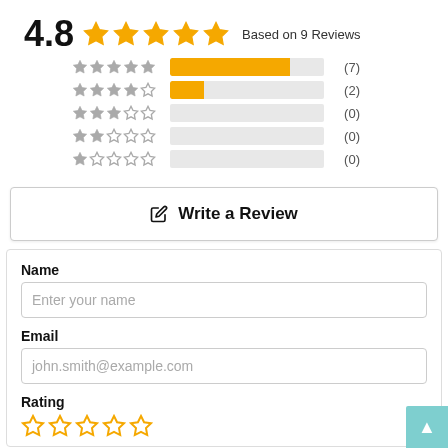[Figure (other): Rating summary showing 4.8 out of 5 stars based on 9 reviews, with star breakdown bars: 5-star (7), 4-star (2), 3-star (0), 2-star (0), 1-star (0)]
Write a Review
Name
Enter your name
Email
john.smith@example.com
Rating